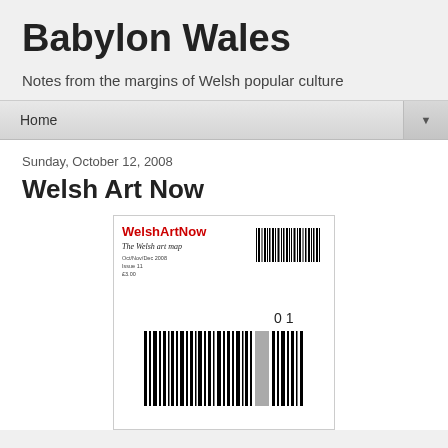Babylon Wales
Notes from the margins of Welsh popular culture
Home
Sunday, October 12, 2008
Welsh Art Now
[Figure (photo): Magazine cover of WelshArtNow - The Welsh art map, showing a large barcode on white background with the magazine title in red and black script at top left, and a smaller barcode top right.]